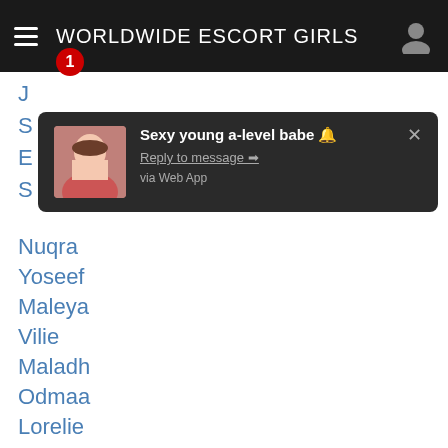WORLDWIDE ESCORT GIRLS
[Figure (screenshot): Notification popup showing 'Sexy young a-level babe' with Reply to message arrow and 'via Web App' text, with a thumbnail image of a woman]
Nuqra
Yoseef
Maleya
Vilie
Maladh
Odmaa
Lorelie
Golders
Maer
Skjold
Samiheh
Be
Warathip
Kheirallah
Manikrao
Charokin
Sarudtah
Raffi...